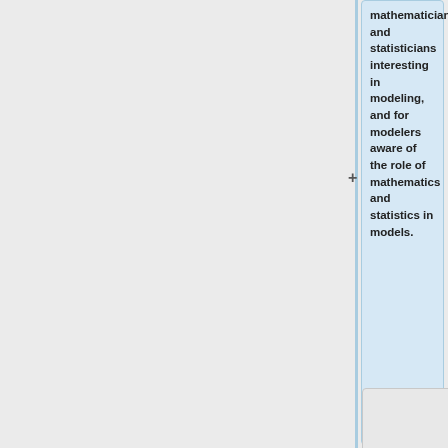mathematicians and statisticians interesting in modeling, and for modelers aware of the role of mathematics and statistics in models.
<!--Welcome to the first Wikipedia devoted to the description of the population models and the mixed effects models.
The goal of this wiki is not to provide "recipes" for modeling or "tricks" for using software, but a rigorous approach for model implementation and practical use.